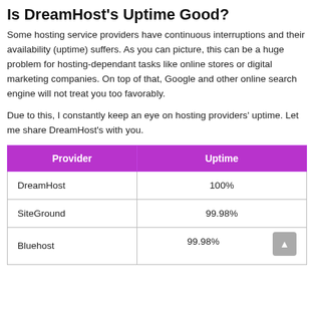Is DreamHost's Uptime Good?
Some hosting service providers have continuous interruptions and their availability (uptime) suffers. As you can picture, this can be a huge problem for hosting-dependant tasks like online stores or digital marketing companies. On top of that, Google and other online search engine will not treat you too favorably.
Due to this, I constantly keep an eye on hosting providers' uptime. Let me share DreamHost's with you.
| Provider | Uptime |
| --- | --- |
| DreamHost | 100% |
| SiteGround | 99.98% |
| Bluehost | 99.98% |